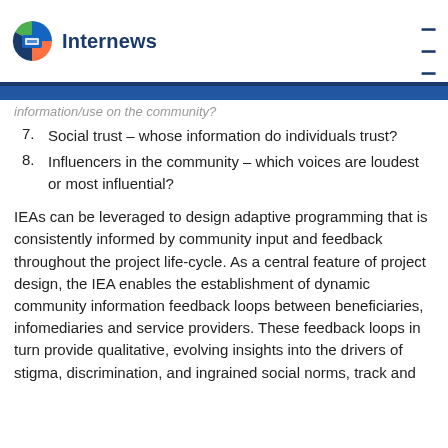Internews
7. Social trust – whose information do individuals trust?
8. Influencers in the community – which voices are loudest or most influential?
IEAs can be leveraged to design adaptive programming that is consistently informed by community input and feedback throughout the project life-cycle. As a central feature of project design, the IEA enables the establishment of dynamic community information feedback loops between beneficiaries, infomediaries and service providers. These feedback loops in turn provide qualitative, evolving insights into the drivers of stigma, discrimination, and ingrained social norms, track and